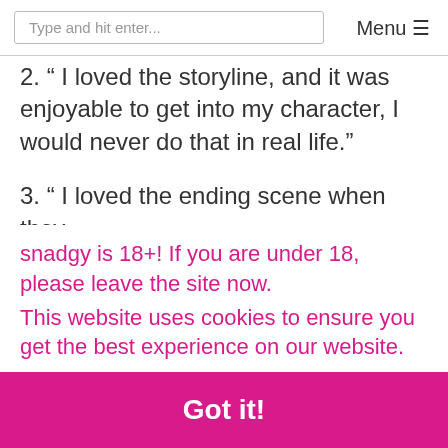Type and hit enter...  Menu ☰
2. “ I loved the storyline, and it was enjoyable to get into my character, I would never do that in real life.”
3. “ I loved the ending scene when they [text partially obscured]”
snadgy is 18+! If you are under 18, please leave the site now.
This website uses cookies to ensure you get the best experience on our website.
Got it!